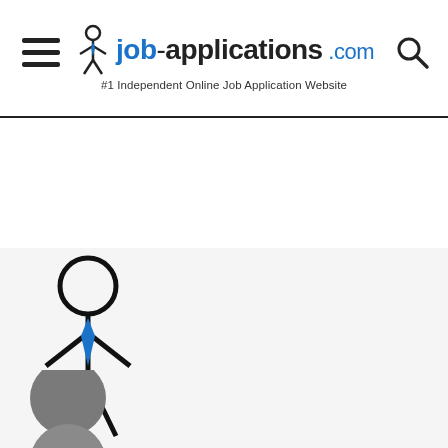job-applications.com #1 Independent Online Job Application Website
[Figure (logo): job-applications.com logo with stick figure icon, text reading job-applications.com and tagline #1 Independent Online Job Application Website]
[Figure (illustration): Stick figure person with blue tie, black outline, standing pose]
[Figure (illustration): Two grey circles partially visible at bottom of page]